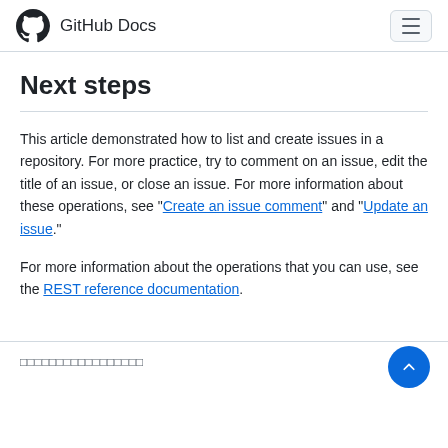GitHub Docs
Next steps
This article demonstrated how to list and create issues in a repository. For more practice, try to comment on an issue, edit the title of an issue, or close an issue. For more information about these operations, see "Create an issue comment" and "Update an issue."
For more information about the operations that you can use, see the REST reference documentation.
□□□□□□□□□□□□□□□□□